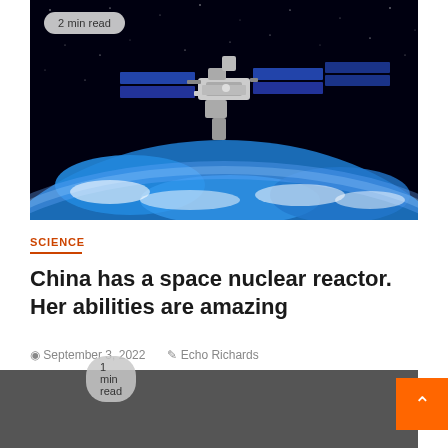[Figure (photo): Space station orbiting Earth against a starry black space background, with Earth's blue surface and atmosphere visible below]
2 min read
SCIENCE
China has a space nuclear reactor. Her abilities are amazing
September 3, 2022   Echo Richards
1 min read